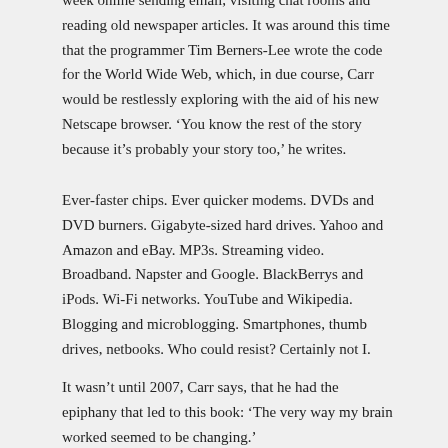week online sending email, visiting chat rooms and reading old newspaper articles. It was around this time that the programmer Tim Berners-Lee wrote the code for the World Wide Web, which, in due course, Carr would be restlessly exploring with the aid of his new Netscape browser. 'You know the rest of the story because it's probably your story too,' he writes.
Ever-faster chips. Ever quicker modems. DVDs and DVD burners. Gigabyte-sized hard drives. Yahoo and Amazon and eBay. MP3s. Streaming video. Broadband. Napster and Google. BlackBerrys and iPods. Wi-Fi networks. YouTube and Wikipedia. Blogging and microblogging. Smartphones, thumb drives, netbooks. Who could resist? Certainly not I.
It wasn't until 2007, Carr says, that he had the epiphany that led to this book: 'The very way my brain worked seemed to be changing.'